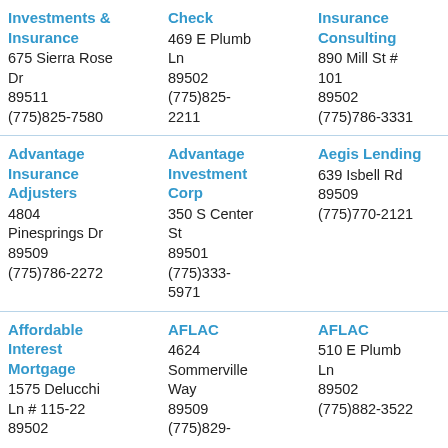Investments & Insurance
675 Sierra Rose Dr
89511
(775)825-7580
Check
469 E Plumb Ln
89502
(775)825-2211
Insurance Consulting
890 Mill St # 101
89502
(775)786-3331
Solutions
6490 S Mccarran
89509
(775)825-6785
Advantage Insurance Adjusters
4804 Pinesprings Dr
89509
(775)786-2272
Advantage Investment Corp
350 S Center St
89501
(775)333-5971
Aegis Lending
639 Isbell Rd
89509
(775)770-2121
AFA Financial R
1325 Airmotive W
89502
(775)325-2300
Affordable Interest Mortgage
1575 Delucchi Ln # 115-22
89502
AFLAC
4624 Sommerville Way
89509
(775)829-
AFLAC
510 E Plumb Ln
89502
(775)882-3522
AFLAC
PO Box 19217
89511
(775)322-9393